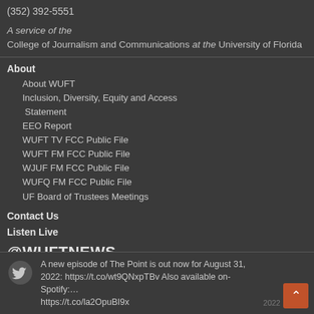(352) 392-5551
A service of the College of Journalism and Communications at the University of Florida
About
About WUFT
Inclusion, Diversity, Equity and Access Statement
EEO Report
WUFT TV FCC Public File
WUFT FM FCC Public File
WJUF FM FCC Public File
WUFQ FM FCC Public File
UF Board of Trustees Meetings
Contact Us
Listen Live
@WUFTNEWS
A new episode of The Point is out now for August 31, 2022: https://t.co/wt9QNxpTBv Also available on- Spotify:… https://t.co/la2OpuBI9x
2022